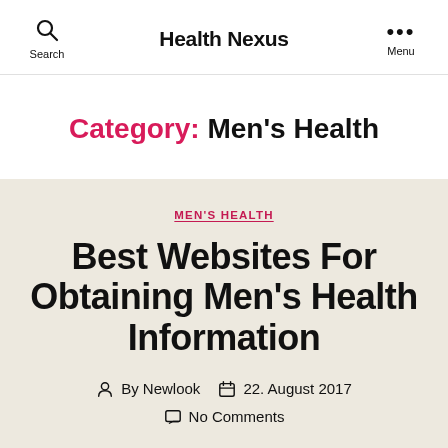Health Nexus
Category: Men's Health
MEN'S HEALTH
Best Websites For Obtaining Men's Health Information
By Newlook  22. August 2017
No Comments